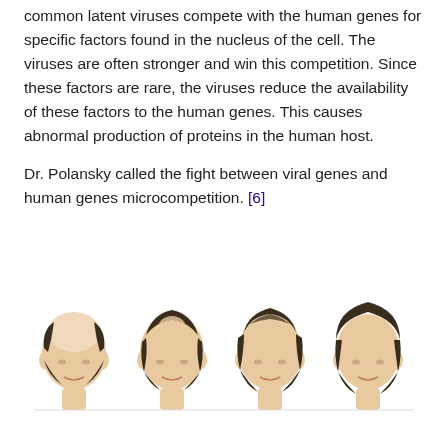common latent viruses compete with the human genes for specific factors found in the nucleus of the cell. The viruses are often stronger and win this competition. Since these factors are rare, the viruses reduce the availability of these factors to the human genes. This causes abnormal production of proteins in the human host.

Dr. Polansky called the fight between viral genes and human genes microcompetition. [6]
[Figure (illustration): Four illustrated male heads showing different stages of hair loss, from severe baldness on the left to full hair on the right.]